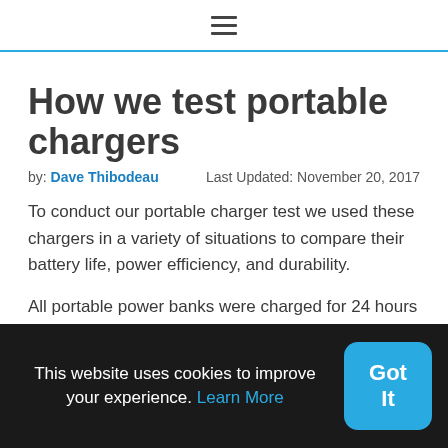≡
How we test portable chargers
by: Dave Thibodeau   Last Updated: November 20, 2017
To conduct our portable charger test we used these chargers in a variety of situations to compare their battery life, power efficiency, and durability.
All portable power banks were charged for 24 hours prior to tests and were tested on standardized android hardware.
This website uses cookies to improve your experience. Learn More